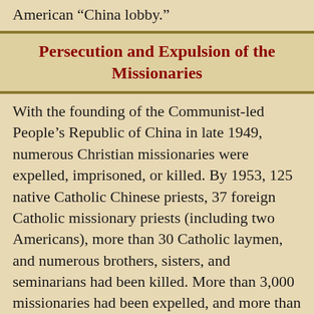American “China lobby.”
Persecution and Expulsion of the Missionaries
With the founding of the Communist-led People’s Republic of China in late 1949, numerous Christian missionaries were expelled, imprisoned, or killed. By 1953, 125 native Catholic Chinese priests, 37 foreign Catholic missionary priests (including two Americans), more than 30 Catholic laymen, and numerous brothers, sisters, and seminarians had been killed. More than 3,000 missionaries had been expelled, and more than 850 priests and bishops had been imprisoned. The Catholic institutions confiscated by the Communists